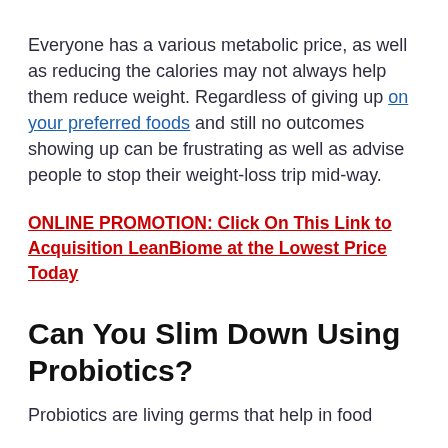Everyone has a various metabolic price, as well as reducing the calories may not always help them reduce weight. Regardless of giving up on your preferred foods and still no outcomes showing up can be frustrating as well as advise people to stop their weight-loss trip mid-way.
ONLINE PROMOTION: Click On This Link to Acquisition LeanBiome at the Lowest Price Today
Can You Slim Down Using Probiotics?
Probiotics are living germs that help in food